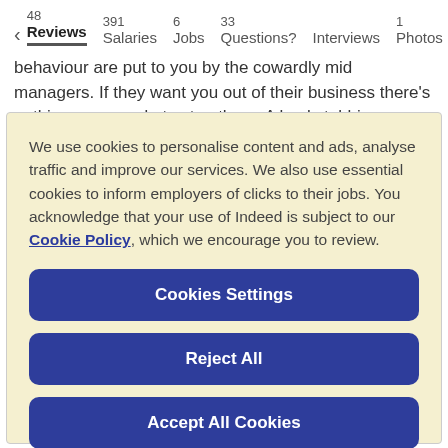< 48 Reviews | 391 Salaries | 6 Jobs | 33 Questions? | Interviews | 1 Photos
behaviour are put to you by the cowardly mid managers. If they want you out of their business there's nothing you can do to stop them. A backstabbing culture exists there. Rest do
We use cookies to personalise content and ads, analyse traffic and improve our services. We also use essential cookies to inform employers of clicks to their jobs. You acknowledge that your use of Indeed is subject to our Cookie Policy, which we encourage you to review.
Cookies Settings
Reject All
Accept All Cookies